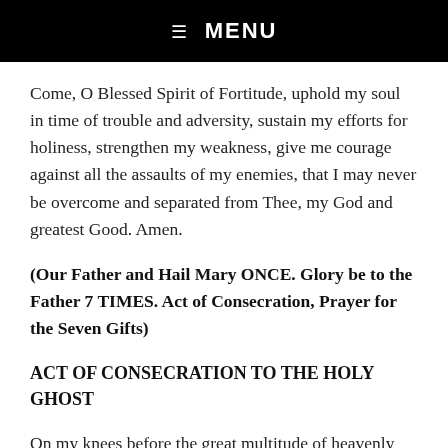☰ MENU
Come, O Blessed Spirit of Fortitude, uphold my soul in time of trouble and adversity, sustain my efforts for holiness, strengthen my weakness, give me courage against all the assaults of my enemies, that I may never be overcome and separated from Thee, my God and greatest Good. Amen.
(Our Father and Hail Mary ONCE. Glory be to the Father 7 TIMES. Act of Consecration, Prayer for the Seven Gifts)
ACT OF CONSECRATION TO THE HOLY GHOST
On my knees before the great multitude of heavenly witnesses, I offer myself, soul and body, to Thee, Eternal Spirit of God. I adore the brightness of Thy purity, the unerring keenness of Thy justice, and the might of Thy love. Thou art the Strength and Light of my soul. In Thee I live and move and am. I desire